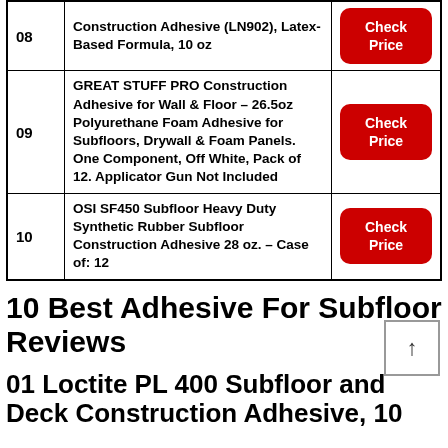| # | Product | Price |
| --- | --- | --- |
| 08 | Construction Adhesive (LN902), Latex-Based Formula, 10 oz | Check Price |
| 09 | GREAT STUFF PRO Construction Adhesive for Wall & Floor – 26.5oz Polyurethane Foam Adhesive for Subfloors, Drywall & Foam Panels. One Component, Off White, Pack of 12. Applicator Gun Not Included | Check Price |
| 10 | OSI SF450 Subfloor Heavy Duty Synthetic Rubber Subfloor Construction Adhesive 28 oz. – Case of: 12 | Check Price |
10 Best Adhesive For Subfloor Reviews
01 Loctite PL 400 Subfloor and Deck Construction Adhesive, 10